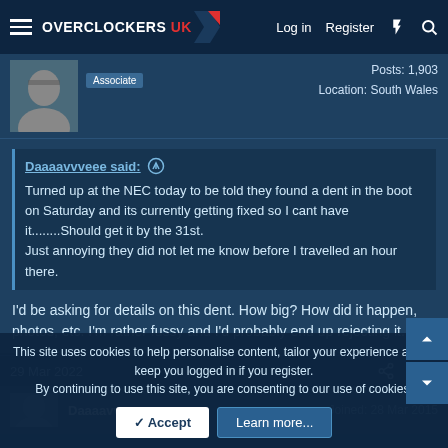Overclockers UK — Log in | Register
Posts: 1,903
Location: South Wales
Associate
Daaaavvveee said: ↑
Turned up at the NEC today to be told they found a dent in the boot on Saturday and its currently getting fixed so I cant have it........Should get it by the 31st.
Just annoying they did not let me know before I travelled an hour there.
I'd be asking for details on this dent. How big? How did it happen, photos, etc. I'm rather fussy and I'd probably end up rejecting it.
29 Mar 2022  #313
Daaaavvveee  Joined: 28 Mar 2015
This site uses cookies to help personalise content, tailor your experience and to keep you logged in if you register.
By continuing to use this site, you are consenting to our use of cookies.